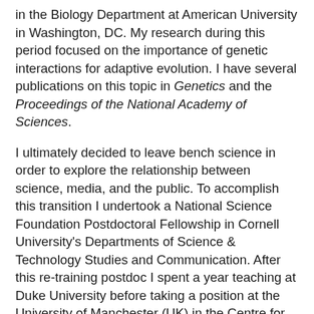in the Biology Department at American University in Washington, DC. My research during this period focused on the importance of genetic interactions for adaptive evolution. I have several publications on this topic in Genetics and the Proceedings of the National Academy of Sciences.
I ultimately decided to leave bench science in order to explore the relationship between science, media, and the public. To accomplish this transition I undertook a National Science Foundation Postdoctoral Fellowship in Cornell University's Departments of Science & Technology Studies and Communication. After this re-training postdoc I spent a year teaching at Duke University before taking a position at the University of Manchester (UK) in the Centre for the History of Science, Technology and Medicine where I became Professor of Science Communication Studies. At the University of Manchester I ran the Biology with Science and Society